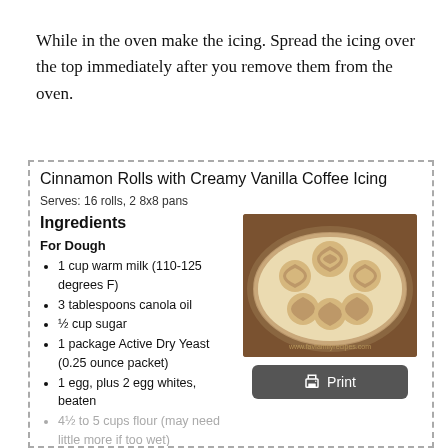While in the oven make the icing. Spread the icing over the top immediately after you remove them from the oven.
Cinnamon Rolls with Creamy Vanilla Coffee Icing
Serves: 16 rolls, 2 8x8 pans
Ingredients
For Dough
1 cup warm milk (110-125 degrees F)
3 tablespoons canola oil
½ cup sugar
1 package Active Dry Yeast (0.25 ounce packet)
1 egg, plus 2 egg whites, beaten
4½ to 5 cups flour (may need little more if too wet)
1 teaspoon salt
[Figure (photo): Cinnamon rolls in a round aluminum pan with creamy icing on top, viewed from above]
For the Filling: